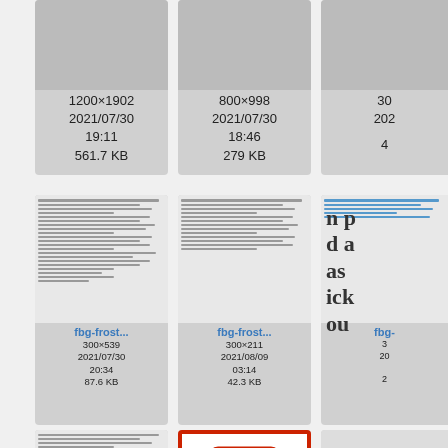[Figure (screenshot): File browser grid showing image thumbnails with filenames, dimensions, dates, and file sizes. Top row shows partial cells with metadata: 1200×1902, 2021/07/30 19:11, 561.7 KB; 800×998, 2021/07/30 18:46, 279 KB; partial third. Middle row: fbg-frost... 300×539 2021/07/30 20:34 87.6 KB; fbg-frost... 300×211 2021/08/09 03:14 42.3 KB; partial third. Bottom row: fbg-garv... 397×500 2021/07/15; fbg-garv... PDF icon 2021/07/15; partial fbg... 60x...]